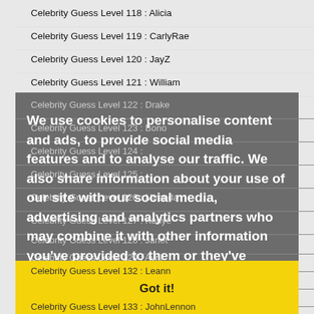Celebrity Guess Level 118 : Alicia
Celebrity Guess Level 119 : CarlyRae
Celebrity Guess Level 120 : JayZ
Celebrity Guess Level 121 : William
Celebrity Guess Level 122 : Drake
Celebrity Guess Level 123 : Bono
Celebrity Guess Level 124 :
Celebrity Guess Level 125 :
Celebrity Guess Level 126 : Miranda
Celebrity Guess Level 127 : Kanye
Celebrity Guess Level 128 : Janet
Celebrity Guess Level 129 : Avril
Celebrity Guess Level 130 : Celine
Celebrity Guess Level 131 : Keith
Celebrity Guess Level 132 : Leann
We use cookies to personalise content and ads, to provide social media features and to analyse our traffic. We also share information about your use of our site with our social media, advertising and analytics partners who may combine it with other information you've provided to them or they've collected from your use of their services. Learn more
Got it!
Celebrity Guess Level 133 : JohnLennon